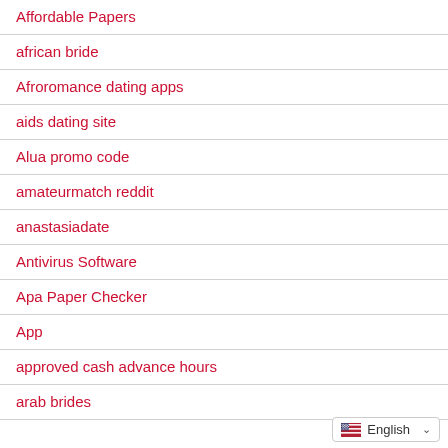Affordable Papers
african bride
Afroromance dating apps
aids dating site
Alua promo code
amateurmatch reddit
anastasiadate
Antivirus Software
Apa Paper Checker
App
approved cash advance hours
arab brides